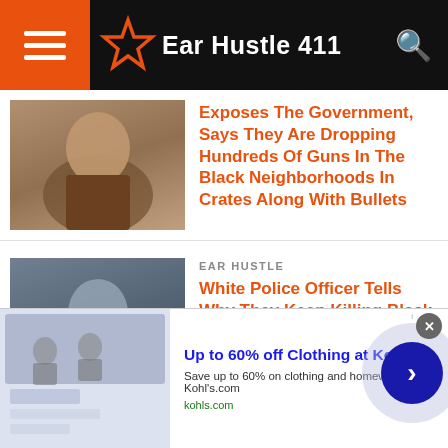Ear Hustle 411
Exposes The Government, Says They Are Dropping Hundreds Of Guns In The Black Neighborhoods In Crates Along With Bullets
EAR HUSTLE
White Police Officer Tells Why They Keep Killing Black People & Uses The Bible Specifically The Book Of Exodus To Explain It.
EAR HUSTLE
Teenage Girl Get's Shot In Her Stomach Three Times But Took Time To Post To
Up to 60% off Clothing at Kohl's
Save up to 60% on clothing and homeware at Kohl's.com
kohls.com